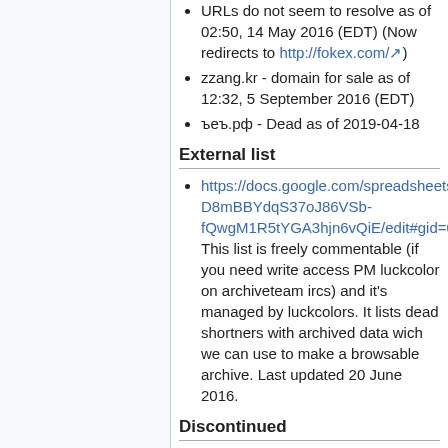URLs do not seem to resolve as of 02:50, 14 May 2016 (EDT) (Now redirects to http://fokex.com/)
zzang.kr - domain for sale as of 12:32, 5 September 2016 (EDT)
ъеъ.рф - Dead as of 2019-04-18
External list
https://docs.google.com/spreadsheets/d/1LD-D8mBBYdqS37oJ86VSb-fQwgM1R5tYGA3hjn6vQiE/edit#gid=0 This list is freely commentable (if you need write access PM luckcolor on archiveteam ircs) and it's managed by luckcolors. It lists dead shortners with archived data wich we can use to make a browsable archive. Last updated 20 June 2016.
Discontinued
adju.com - Still resolves URLs, but